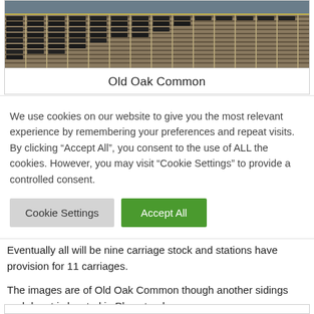[Figure (photo): Aerial photograph of Old Oak Common railway sidings showing multiple parallel tracks with trains/carriages arranged in rows, viewed from above.]
Old Oak Common
We use cookies on our website to give you the most relevant experience by remembering your preferences and repeat visits. By clicking “Accept All”, you consent to the use of ALL the cookies. However, you may visit “Cookie Settings” to provide a controlled consent.
Eventually all will be nine carriage stock and stations have provision for 11 carriages.
The images are of Old Oak Common though another sidings and depot is located in Plumstead.